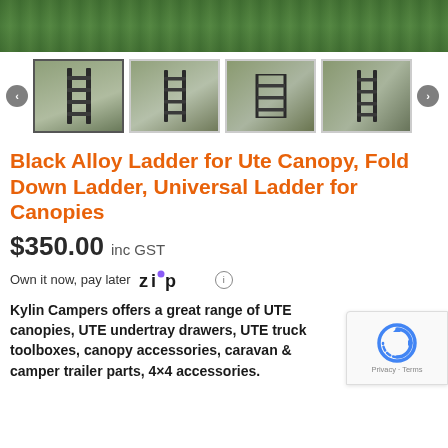[Figure (photo): Hero photo of black alloy ladder on grass background (top portion cropped)]
[Figure (photo): Thumbnail gallery row showing four photos of a black alloy fold-down ladder for ute canopy from different angles, with left/right navigation arrows]
Black Alloy Ladder for Ute Canopy, Fold Down Ladder, Universal Ladder for Canopies
$350.00 inc GST
Own it now, pay later  zip
Kylin Campers offers a great range of UTE canopies, UTE undertray drawers, UTE truck toolboxes, canopy accessories, caravan & camper trailer parts, 4×4 accessories.